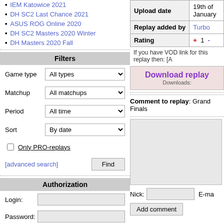IEM Katowice 2021
DH SC2 Last Chance 2021
ASUS ROG Online 2020
DH SC2 Masters 2020 Winter
DH Masters 2020 Fall
Filters
Game type: All types
Matchup: All matchups
Period: All time
Sort: By date
Only PRO-replays
[advanced search]   Find
Authorization
Login:
Password:
Remember me   Log in
[Registration] [Forgot password?]
| Field | Value |
| --- | --- |
| Upload date | 19th of January |
| Replay added by | Turbo |
| Rating | + 1 - |
If you have VOD link for this replay then: [A
Download replay
Downloads:
Comment to replay: Grand Finals
Nick:    E-ma
Add comment